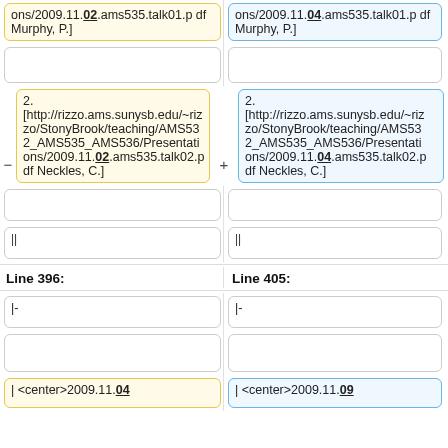ons/2009.11.02.ams535.talk01.pdf Murphy, P.]
ons/2009.11.04.ams535.talk01.pdf Murphy, P.]
2.
[http://rizzo.ams.sunysb.edu/~rizzo/StonyBrook/teaching/AMS532_AMS535_AMS536/Presentations/2009.11.02.ams535.talk02.pdf Neckles, C.]
2.
[http://rizzo.ams.sunysb.edu/~rizzo/StonyBrook/teaching/AMS532_AMS535_AMS536/Presentations/2009.11.04.ams535.talk02.pdf Neckles, C.]
||
||
Line 396:
Line 405:
|-
|-
| <center>2009.11.04
| <center>2009.11.09